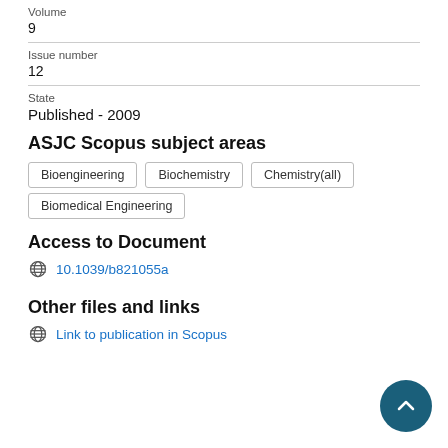Volume
9
Issue number
12
State
Published - 2009
ASJC Scopus subject areas
Bioengineering
Biochemistry
Chemistry(all)
Biomedical Engineering
Access to Document
10.1039/b821055a
Other files and links
Link to publication in Scopus